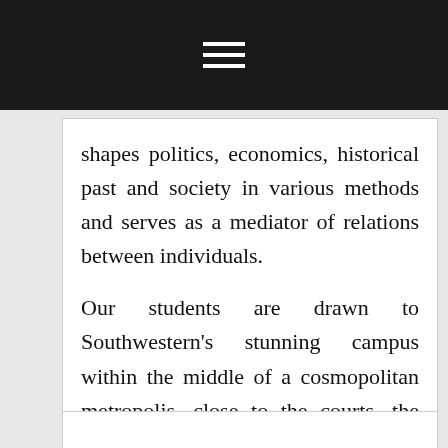☰ (menu icon)
shapes politics, economics, historical past and society in various methods and serves as a mediator of relations between individuals.
Our students are drawn to Southwestern's stunning campus within the middle of a cosmopolitan metropolis, close to the courts, the public service hall, and the leisure business. They really ...
Published in Business Marketing  Tagged definition, means, which